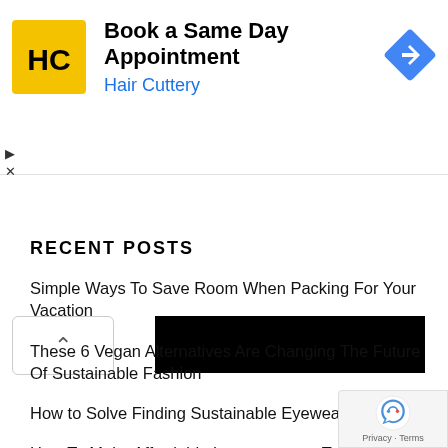[Figure (infographic): Hair Cuttery advertisement banner with yellow logo, text 'Book a Same Day Appointment', 'Hair Cuttery' in blue, and a blue diamond navigation icon on the right]
[Figure (screenshot): Collapsed/minimized ad bar showing a dark black bar and collapse button with upward caret]
RECENT POSTS
Simple Ways To Save Room When Packing For Your Vacation
These 6 Vegan Alternatives Are Changing The Future Of Sustainable Fashion
How to Solve Finding Sustainable Eyewear
How To Make Affordable Improvements To Make Your Home Feel Luxury
[Figure (logo): Google reCAPTCHA badge with Privacy and Terms text]